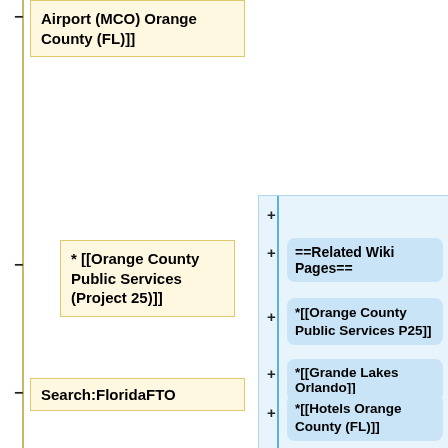Airport (MCO) Orange County (FL)]]
* [[Orange County Public Services (Project 25)]]
* [[Walt Disney World Orange County (FL)]]
Search:FloridaFTO
==Related Wiki Pages==
*[[Orange County Public Services P25]]
*[[Grande Lakes Orlando]]
*[[Hotels Orange County (FL)]]
*[[Orlando Executive Airport (ORL) Orange